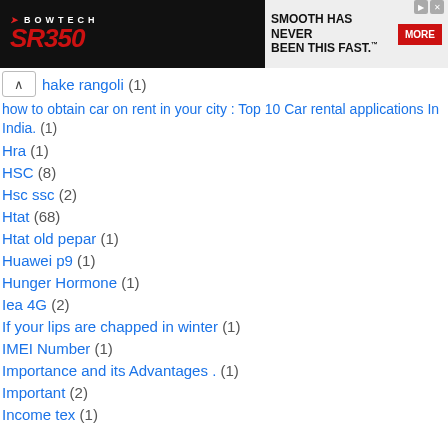[Figure (photo): Bowtech SR350 bow advertisement banner with text 'SMOOTH HAS NEVER BEEN THIS FAST.' and a MORE button]
hake rangoli (1)
how to obtain car on rent in your city : Top 10 Car rental applications In India. (1)
Hra (1)
HSC (8)
Hsc ssc (2)
Htat (68)
Htat old pepar (1)
Huawei p9 (1)
Hunger Hormone (1)
Iea 4G (2)
If your lips are chapped in winter (1)
IMEI Number (1)
Importance and its Advantages . (1)
Important (2)
Income tex (1)